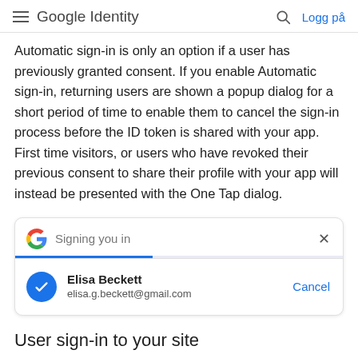≡ Google Identity  🔍  Logg på
Automatic sign-in is only an option if a user has previously granted consent. If you enable Automatic sign-in, returning users are shown a popup dialog for a short period of time to enable them to cancel the sign-in process before the ID token is shared with your app. First time visitors, or users who have revoked their previous consent to share their profile with your app will instead be presented with the One Tap dialog.
[Figure (screenshot): A Google One Tap automatic sign-in dialog showing 'Signing you in' with a progress bar, an account section displaying 'Elisa Beckett' and 'elisa.g.beckett@gmail.com' with a blue checkmark avatar, and a 'Cancel' button.]
User sign-in to your site